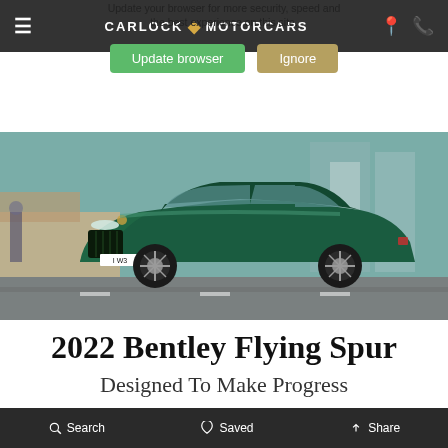Update your browser for more security, speed and the best experience on this site. | Update browser | Ignore
[Figure (screenshot): Carlock Motorcars navigation bar with hamburger menu icon, logo with diamond symbol, location pin and phone icons on dark grey background]
[Figure (photo): Dark green Bentley Flying Spur luxury sedan driving on a city street with buildings in background]
2022 Bentley Flying Spur
Designed To Make Progress
Search | Saved | Share